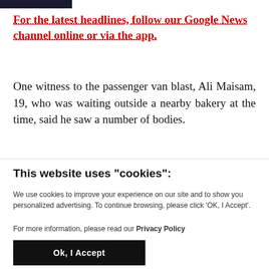For the latest headlines, follow our Google News channel online or via the app.
One witness to the passenger van blast, Ali Maisam, 19, who was waiting outside a nearby bakery at the time, said he saw a number of bodies.
This website uses "cookies":
We use cookies to improve your experience on our site and to show you personalized advertising. To continue browsing, please click ‘OK, I Accept’.
For more information, please read our Privacy Policy
Ok, I Accept